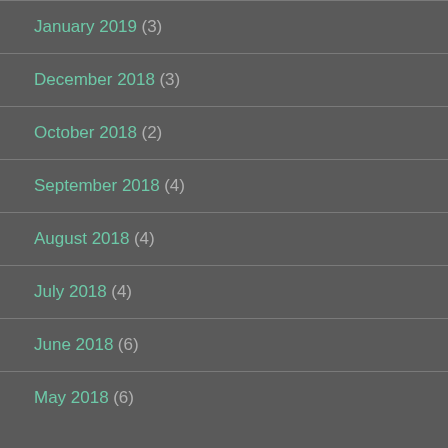January 2019 (3)
December 2018 (3)
October 2018 (2)
September 2018 (4)
August 2018 (4)
July 2018 (4)
June 2018 (6)
May 2018 (6)